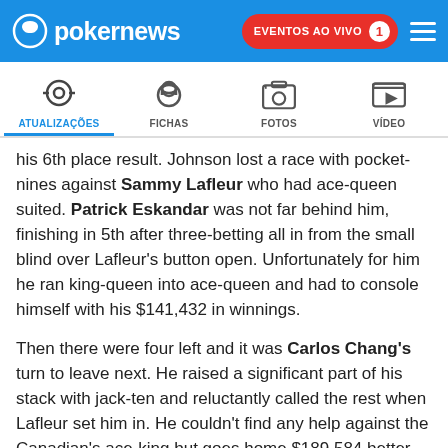pokernews — EVENTOS AO VIVO 1
ATUALIZAÇÕES | FICHAS | FOTOS | VÍDEO
his 6th place result. Johnson lost a race with pocket-nines against Sammy Lafleur who had ace-queen suited. Patrick Eskandar was not far behind him, finishing in 5th after three-betting all in from the small blind over Lafleur's button open. Unfortunately for him he ran king-queen into ace-queen and had to console himself with his $141,432 in winnings.
Then there were four left and it was Carlos Chang's turn to leave next. He raised a significant part of his stack with jack-ten and reluctantly called the rest when Lafleur set him in. He couldn't find any help against the Canadian's ace-king but goes home $189,584 better off. Twenty-five minutes later, he was joined at the rail by Sergio Aguilar. Aguilar had lost most of his chips in the previous hand to Iyer after calling his all in on the river. Iyer turned over a straight and Aguilar was left with four